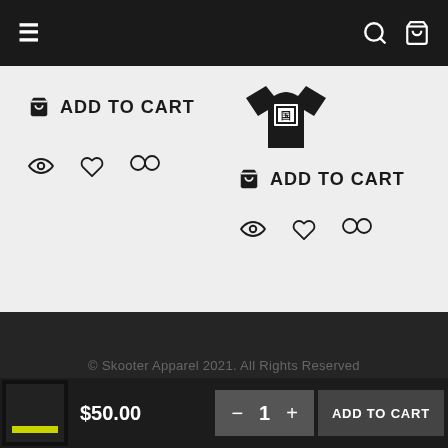Navigation bar with hamburger menu, search and cart icons
ADD TO CART
[Figure (illustration): Eye icon, heart icon, and balance/compare icon row]
[Figure (illustration): T-shirt product image with Japanese/Chinese character graphic]
ADD TO CART
[Figure (illustration): Eye icon, heart icon, and balance/compare icon row]
© Skooter Apparel 2021. All Rights Reserved
$50.00
− 1 + ADD TO CART